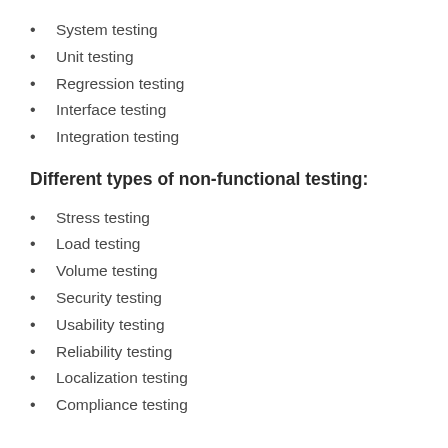System testing
Unit testing
Regression testing
Interface testing
Integration testing
Different types of non-functional testing:
Stress testing
Load testing
Volume testing
Security testing
Usability testing
Reliability testing
Localization testing
Compliance testing